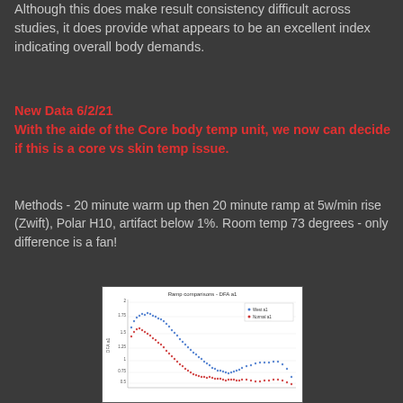Although this does make result consistency difficult across studies, it does provide what appears to be an excellent index indicating overall body demands.
New Data 6/2/21
With the aide of the Core body temp unit, we now can decide if this is a core vs skin temp issue.
Methods - 20 minute warm up then 20 minute ramp at 5w/min rise (Zwift), Polar H10, artifact below 1%.  Room temp 73 degrees - only difference is a fan!
[Figure (continuous-plot): Scatter/continuous plot titled 'Ramp comparisons - DFA a1' showing two data series (blue and red dots) representing DFA a1 values declining over a ramp test. Blue series starts higher (~1.75) and red series starts lower (~1.5), both declining as intensity increases. Legend shows two labeled series.]